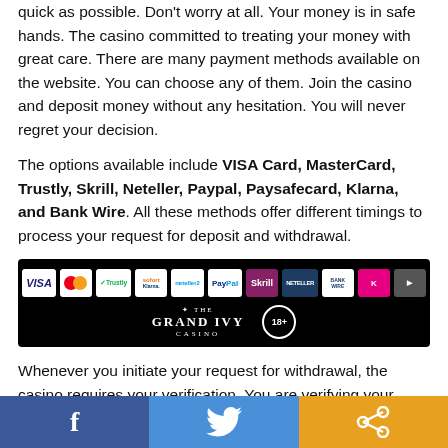quick as possible. Don't worry at all. Your money is in safe hands. The casino committed to treating your money with great care. There are many payment methods available on the website. You can choose any of them. Join the casino and deposit money without any hesitation. You will never regret your decision.
The options available include VISA Card, MasterCard, Trustly, Skrill, Neteller, Paypal, Paysafecard, Klarna, and Bank Wire. All these methods offer different timings to process your request for deposit and withdrawal.
[Figure (other): Payment methods banner on black background showing logos: VISA, MasterCard, Trustly, Sofort/Klarna, Neteller, PayPal, Skrill, Neteller, Bank Wire, Klarna, and one more. Below is Grand Ivy Casino logo and 18+ badge.]
Whenever you initiate your request for withdrawal, the casino requires your verification. You are verifying your identity. This is to avoid any fraud. You may be asked for some of your documents. This verification process may take
[Figure (other): Social share bar at bottom with Facebook, Twitter, and Share buttons.]